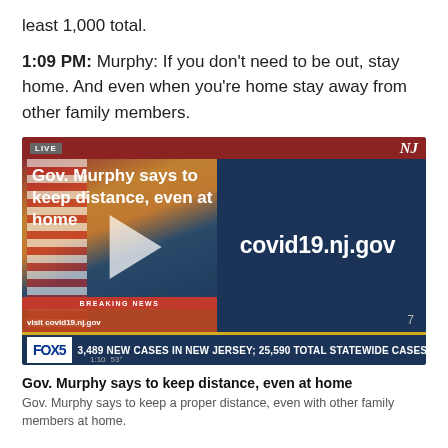least 1,000 total.
1:09 PM: Murphy: If you don't need to be out, stay home. And even when you're home stay away from other family members.
[Figure (screenshot): News broadcast screenshot showing Gov. Murphy press conference with headline 'Gov. Murphy says to keep distance, even at home', covid19.nj.gov URL on screen, and FOX5 ticker reading '3,489 NEW CASES IN NEW JERSEY; 25,590 TOTAL STATEWIDE CASES']
Gov. Murphy says to keep distance, even at home
Gov. Murphy says to keep a proper distance, even with other family members at home.